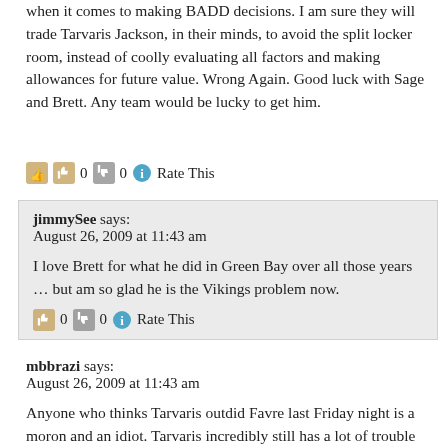when it comes to making BADD decisions. I am sure they will trade Tarvaris Jackson, in their minds, to avoid the split locker room, instead of coolly evaluating all factors and making allowances for future value. Wrong Again. Good luck with Sage and Brett. Any team would be lucky to get him.
👍 0 👎 0 ℹ Rate This
jimmySee says:
August 26, 2009 at 11:43 am

I love Brett for what he did in Green Bay over all those years … but am so glad he is the Vikings problem now.

👍 0 👎 0 ℹ Rate This
mbbrazi says:
August 26, 2009 at 11:43 am

Anyone who thinks Tarvaris outdid Favre last Friday night is a moron and an idiot. Tarvaris incredibly still has a lot of trouble